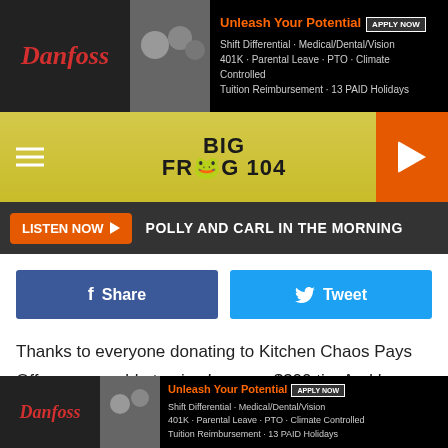[Figure (screenshot): Danfoss advertisement banner - Unleash Your Potential with Apply Now button, listing benefits: Shift Differential, Medical/Dental/Vision, 401K, Parental Leave, PTO, Climate Controlled, Tuition Reimbursement, 13 PAID Holidays]
[Figure (logo): Big Frog 104 radio station logo on yellow/gold background with hamburger menu and orange play button]
LISTEN NOW ▶   POLLY AND CARL IN THE MORNING
[Figure (screenshot): Facebook Share button (dark blue) and Twitter Tweet button (light blue)]
Thanks to everyone donating to Kitchen Chaos Pays Off, we were able to give Logan a $300 tip. And he earned every penny. Unfortunately, we missed the big moment when the video didn't work. But you can see take 2 where Logan thanks everyone for their generosity.

Three other servers also received large tips before the
[Figure (screenshot): Danfoss advertisement banner - Unleash Your Potential with Apply Now button, listing benefits: Shift Differential, Medical/Dental/Vision, 401K, Parental Leave, PTO, Climate Controlled, Tuition Reimbursement, 13 PAID Holidays]